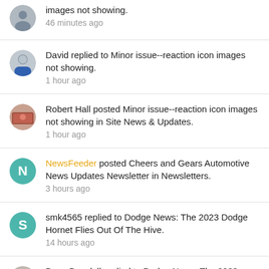images not showing. 46 minutes ago
David replied to Minor issue--reaction icon images not showing. 1 hour ago
Robert Hall posted Minor issue--reaction icon images not showing in Site News & Updates. 1 hour ago
NewsFeeder posted Cheers and Gears Automotive News Updates Newsletter in Newsletters. 3 hours ago
smk4565 replied to Dodge News: The 2023 Dodge Hornet Flies Out Of The Hive. 14 hours ago
Drew Dowdell replied to Dodge News: The 2023 Dodge Hornet Flies Out Of The Hive.